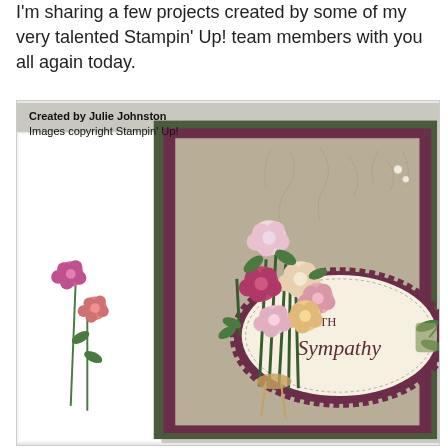I'm sharing a few projects created by some of my very talented Stampin' Up! team members with you all again today.
[Figure (photo): A handmade Stampin' Up! sympathy greeting card with floral embellishments. The card features embossed leaf patterns on a khaki/sage background, layered on a dark plum/burgundy mat. A bouquet of small stamped flowers in pink, cream, and peach tones is tied with twine. An oval die-cut label reads 'WITH Sympathy' in elegant script. On the left side, a white panel insert shows pink flower stems. Caption text reads: 'Created by Julie Johnston / Images copyright Stampin' Up!']